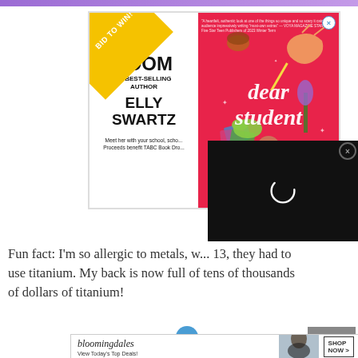[Figure (illustration): Top banner strip with purple gradient]
[Figure (illustration): Advertisement for a Zoom event with best-selling author Elly Swartz, featuring the book 'Dear Student' on a red background with illustrated elements. Gold banner in corner says 'BID TO WIN!']
[Figure (screenshot): Black video overlay with a loading spinner circle, with an X close button]
Fun fact: I'm so allergic to metals, w... 13, they had to use titanium. My back is now full of tens of thousands of dollars of titanium!
[Figure (illustration): Bloomingdales advertisement banner: 'bloomingdales - View Today's Top Deals!' with SHOP NOW > button]
CLOSE